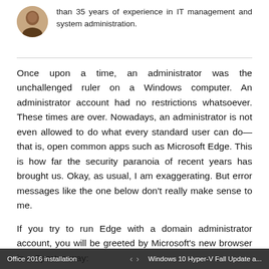than 35 years of experience in IT management and system administration.
Once upon a time, an administrator was the unchallenged ruler on a Windows computer. An administrator account had no restrictions whatsoever. These times are over. Nowadays, an administrator is not even allowed to do what every standard user can do—that is, open common apps such as Microsoft Edge. This is how far the security paranoia of recent years has brought us. Okay, as usual, I am exaggerating. But error messages like the one below don't really make sense to me.
If you try to run Edge with a domain administrator account, you will be greeted by Microsoft's new browser in a Spartan way:
Office 2016 installation    ‹  ›    Windows 10 Hyper-V Fall Update a...